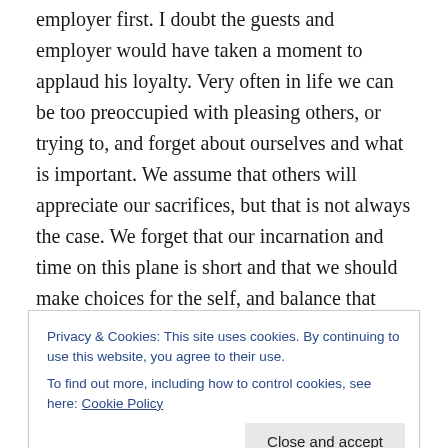employer first. I doubt the guests and employer would have taken a moment to applaud his loyalty. Very often in life we can be too preoccupied with pleasing others, or trying to, and forget about ourselves and what is important. We assume that others will appreciate our sacrifices, but that is not always the case. We forget that our incarnation and time on this plane is short and that we should make choices for the self, and balance that with helping others, and not act solely on the needs or whims of others.
For example, I have other blogs and my readers have in
Privacy & Cookies: This site uses cookies. By continuing to use this website, you agree to their use.
To find out more, including how to control cookies, see here: Cookie Policy
believed as the audience (who do not pay) they were